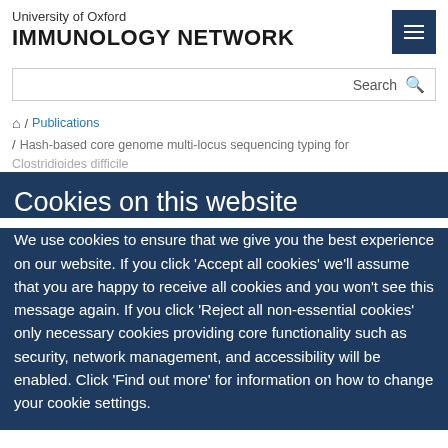University of Oxford IMMUNOLOGY NETWORK
Search
/ Publications / Hash-based core genome multi-locus sequencing typing for Clostridioides difficile
Cookies on this website
We use cookies to ensure that we give you the best experience on our website. If you click 'Accept all cookies' we'll assume that you are happy to receive all cookies and you won't see this message again. If you click 'Reject all non-essential cookies' only necessary cookies providing core functionality such as security, network management, and accessibility will be enabled. Click 'Find out more' for information on how to change your cookie settings.